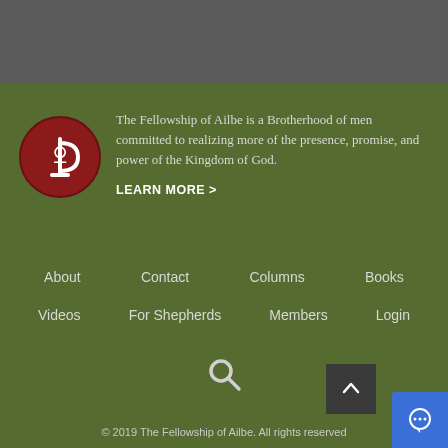[Figure (logo): Circular dark red logo with a white Celtic/P symbol inside]
The Fellowship of Ailbe is a Brotherhood of men committed to realizing more of the presence, promise, and power of the Kingdom of God.
LEARN MORE >
About
Contact
Columns
Books
Videos
For Shepherds
Members
Login
[Figure (illustration): Search magnifying glass icon]
© 2019 The Fellowship of Ailbe. All rights reserved